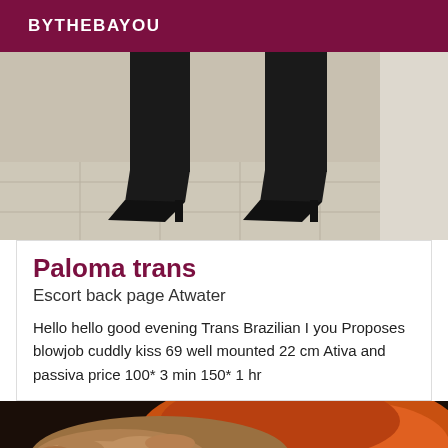BYTHEBAYOU
[Figure (photo): Photo showing lower legs and feet wearing black pointed high-heel boots standing on beige tile floor]
Paloma trans
Escort back page Atwater
Hello hello good evening Trans Brazilian I you Proposes blowjob cuddly kiss 69 well mounted 22 cm Ativa and passiva price 100* 3 min 150* 1 hr
[Figure (photo): Close-up photo of hands with orange/red background]